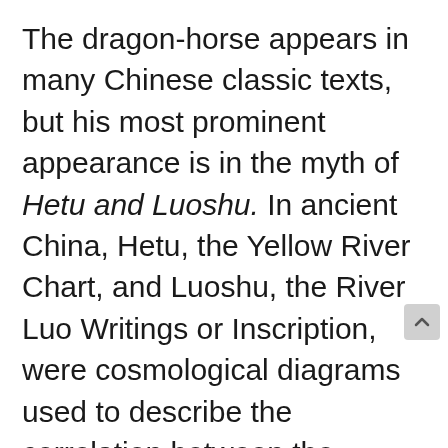The dragon-horse appears in many Chinese classic texts, but his most prominent appearance is in the myth of Hetu and Luoshu. In ancient China, Hetu, the Yellow River Chart, and Luoshu, the River Luo Writings or Inscription, were cosmological diagrams used to describe the correlation between the hexagrams of the Book of Changes, the so-called Yijing, and the universe and the life on Earth. These are also used in